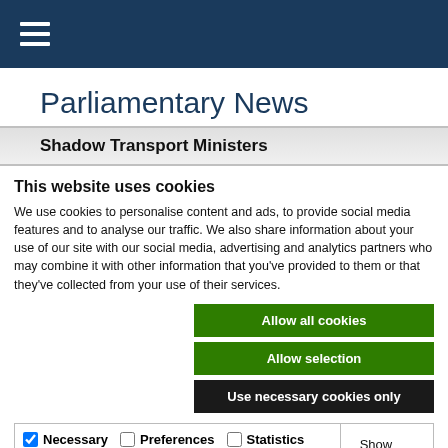≡ (hamburger menu icon)
Parliamentary News
Shadow Transport Ministers
This website uses cookies
We use cookies to personalise content and ads, to provide social media features and to analyse our traffic. We also share information about your use of our site with our social media, advertising and analytics partners who may combine it with other information that you've provided to them or that they've collected from your use of their services.
Allow all cookies
Allow selection
Use necessary cookies only
Necessary | Preferences | Statistics | Marketing | Show details